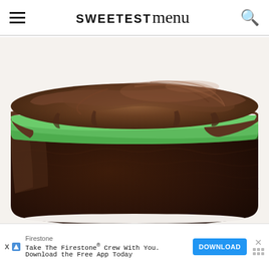SWEETEST menu
[Figure (photo): Close-up photo of a layered chocolate mint cake. The cake has a dark chocolate sponge base, a bright green mint cream filling layer, and a thick swirled dark chocolate ganache topping. The side of the cake is visible showing the three distinct layers.]
Firestone
Take The Firestone® Crew With You. Download the Free App Today
DOWNLOAD